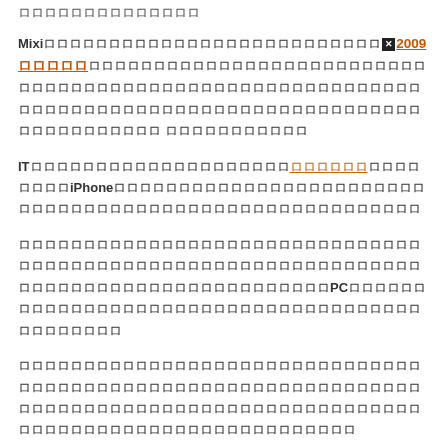ロロロロロロロロロロロロロロ
Mixiロロロロロロロロロロロロロロロロロロロロロロロロロロ✕2009ロロロロロロロロロロロロロロロロロロロロロロロロロロロロロロロロロロロロロロロロロロロロロロロロロロロロロロロロロロロロロロロロロロロロロロロロロロロロロロロロロロロロロロロロロロロロロロロロロロロロロロロロロロロロロロロロ
ITロロロロロロロロロロロロロロロロロロロロロロロロロロロロロロロロロiPhoneロロロロロロロロロロロロロロロロロロロロロロロロロロロロロロロロロロロロロロロロロロロロロロロロロロロロロロロ
ロロロロロロロロロロロロロロロロロロロロロロロロロロロロロロロロロロロロロロロロロロロロロロロロロロロロロロロロロロロロロロロロロロロロロロロロロロロロロロロロロロロロロロPCロロロロロロロロロロロロロロロロロロロロロロロロロロロロロロロロロロロロロロロロロロロロロ
ロロロロロロロロロロロロロロロロロロロロロロロロロロロロロロロロロロロロロロロロロロロロロロロロロロロロロロロロロロロロロロロロロロロロロロロロロロロロロロロロロロロロロロロロロロロロロロロロロロロロロロロロロロロロロロロロロロロロロロロ
Naofumi Kagami / 2011ロ9ロ12ロ / Internet Marketing